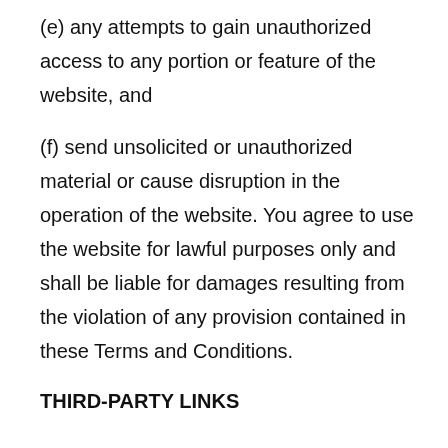(e) any attempts to gain unauthorized access to any portion or feature of the website, and
(f) send unsolicited or unauthorized material or cause disruption in the operation of the website. You agree to use the website for lawful purposes only and shall be liable for damages resulting from the violation of any provision contained in these Terms and Conditions.
THIRD-PARTY LINKS